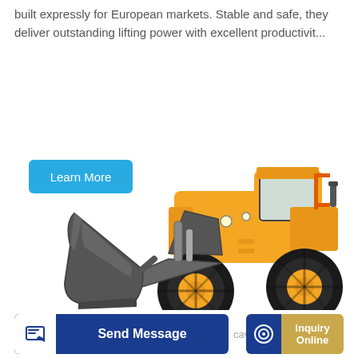built expressly for European markets. Stable and safe, they deliver outstanding lifting power with excellent productivit...
[Figure (other): A 'Learn More' button with cyan/blue background and white text]
[Figure (photo): A large yellow wheel loader / front-end loader construction machine with a grey bucket attachment, shown on white background]
[Figure (other): Bottom navigation bar with 'Send Message' button (dark blue) and 'Inquiry Online' button (golden/tan), plus a send icon box and inquiry icon box]